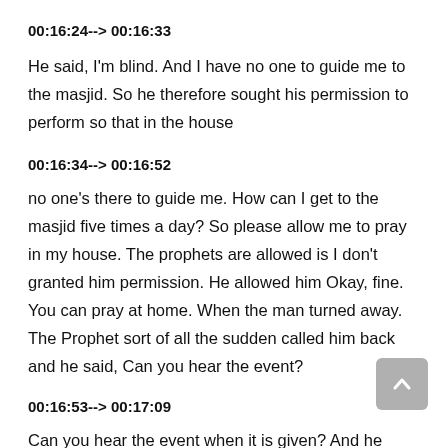00:16:24--> 00:16:33
He said, I'm blind. And I have no one to guide me to the masjid. So he therefore sought his permission to perform so that in the house
00:16:34--> 00:16:52
no one's there to guide me. How can I get to the masjid five times a day? So please allow me to pray in my house. The prophets are allowed is I don't granted him permission. He allowed him Okay, fine. You can pray at home. When the man turned away. The Prophet sort of all the sudden called him back and he said, Can you hear the event?
00:16:53--> 00:17:09
Can you hear the event when it is given? And he replied in the